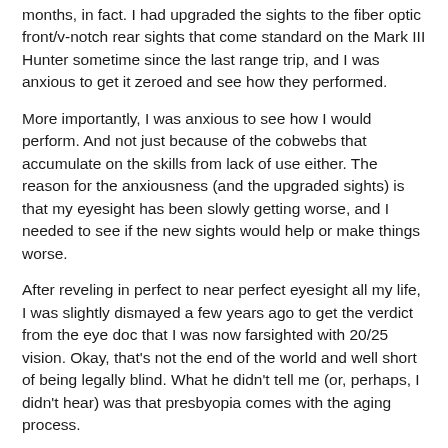months, in fact. I had upgraded the sights to the fiber optic front/v-notch rear sights that come standard on the Mark III Hunter sometime since the last range trip, and I was anxious to get it zeroed and see how they performed.
More importantly, I was anxious to see how I would perform. And not just because of the cobwebs that accumulate on the skills from lack of use either. The reason for the anxiousness (and the upgraded sights) is that my eyesight has been slowly getting worse, and I needed to see if the new sights would help or make things worse.
After reveling in perfect to near perfect eyesight all my life, I was slightly dismayed a few years ago to get the verdict from the eye doc that I was now farsighted with 20/25 vision. Okay, that's not the end of the world and well short of being legally blind. What he didn't tell me (or, perhaps, I didn't hear) was that presbyopia comes with the aging process.
Why is this important to shooters, you might ask? (you really should be asking, by the way)